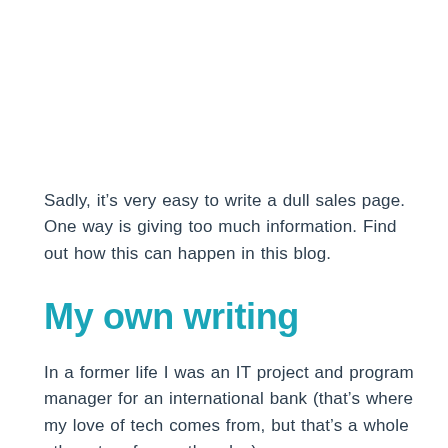Sadly, it's very easy to write a dull sales page. One way is giving too much information. Find out how this can happen in this blog.
My own writing
In a former life I was an IT project and program manager for an international bank (that's where my love of tech comes from, but that's a whole other story for another day).